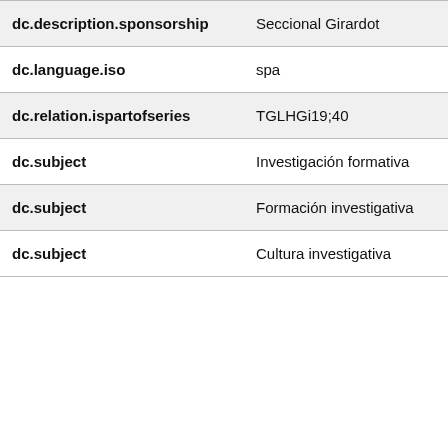students. In this way, we could research approaches that are carried out in public education institutions from an early age, show the advantages of the new research in the formative processes students for the transformation of education. Key words: School formative research, research habits, research culture, thinking, educational processes and education.
| Field | Value |
| --- | --- |
| dc.description.sponsorship | Seccional Girardot |
| dc.language.iso | spa |
| dc.relation.ispartofseries | TGLHGi19;40 |
| dc.subject | Investigación formativa |
| dc.subject | Formación investigativa |
| dc.subject | Cultura investigativa |